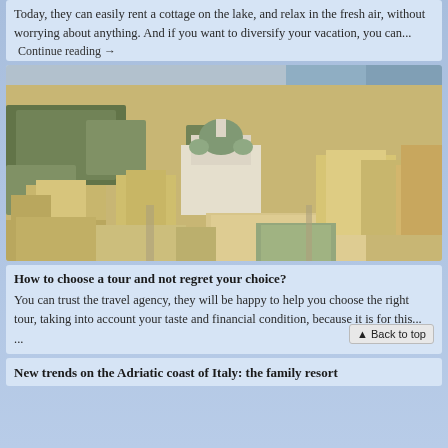Today, they can easily rent a cottage on the lake, and relax in the fresh air, without worrying about anything. And if you want to diversify your vacation, you can...
Continue reading →
[Figure (photo): Aerial view of a European city (Helsinki) showing buildings, a white cathedral with green dome, city square, trees, and waterfront in the distance]
How to choose a tour and not regret your choice?
You can trust the travel agency, they will be happy to help you choose the right tour, taking into account your taste and financial condition, because it is for this... ...
New trends on the Adriatic coast of Italy: the family resort